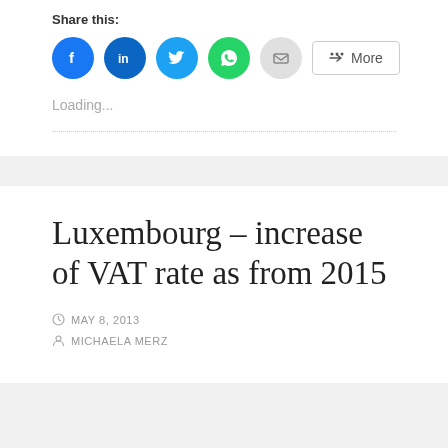Share this:
[Figure (other): Social share buttons: Facebook, LinkedIn, Twitter, WhatsApp, Email, and More button]
Loading...
Luxembourg – increase of VAT rate as from 2015
MAY 8, 2013
MICHAELA MERZ